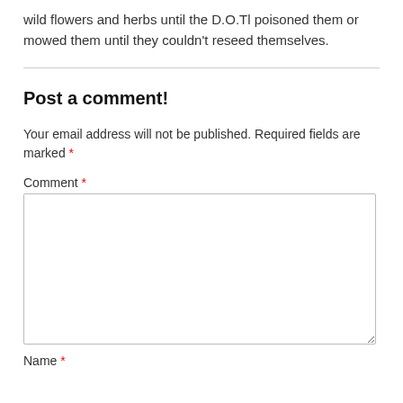wild flowers and herbs until the D.O.Tl poisoned them or mowed them until they couldn't reseed themselves.
Post a comment!
Your email address will not be published. Required fields are marked *
Comment *
Name *